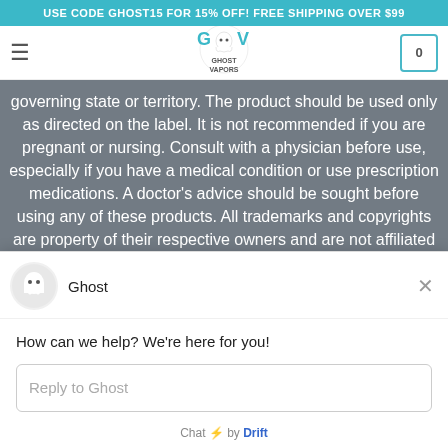USE CODE GHOST15 FOR 15% OFF! FREE SHIPPING OVER $99
[Figure (logo): Ghost Vapors logo with ghost character in center of text GOV GHOST VAPORS]
governing state or territory. The product should be used only as directed on the label. It is not recommended if you are pregnant or nursing. Consult with a physician before use, especially if you have a medical condition or use prescription medications. A doctor's advice should be sought before using any of these products. All trademarks and copyrights are property of their respective owners and are not affiliated with nor do they endorse this product. Void Where Prohibited By Law.
[Figure (infographic): Social media icons row: Facebook, Twitter, Email, Tumblr, Pinterest]
[Figure (illustration): Chat widget with ghost avatar. Header: Ghost with X close button. Body: 'How can we help? We're here for you!' with Reply to Ghost input field. Footer: Chat by Drift]